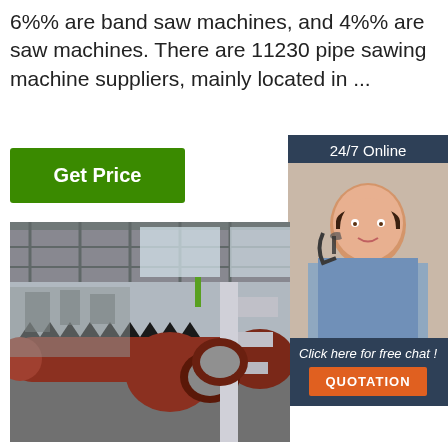6%% are band saw machines, and 4%% are saw machines. There are 11230 pipe sawing machine suppliers, mainly located in ...
[Figure (other): Green 'Get Price' button]
[Figure (other): Dark blue sidebar with '24/7 Online' text, photo of woman with headset, 'Click here for free chat!' text, and orange 'QUOTATION' button]
[Figure (photo): Industrial factory floor showing a large red/brown pipe on a conveyor/rack system with machinery in a large warehouse]